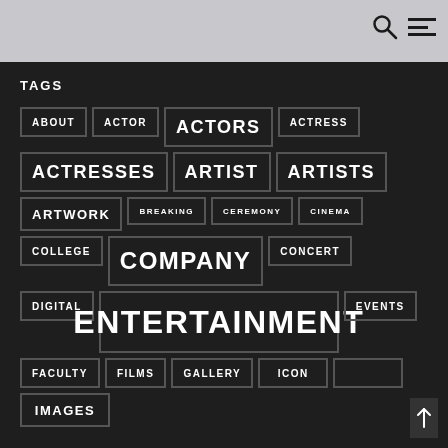TAGS
ABOUT
ACTOR
ACTORS
ACTRESS
ACTRESSES
ARTIST
ARTISTS
ARTWORK
BREAKING
CEREMONY
CINEMA
COLLEGE
COMPANY
CONCERT
DIGITAL
ENTERTAINMENT
EVENTS
FACULTY
FILMS
GALLERY
IMAGES